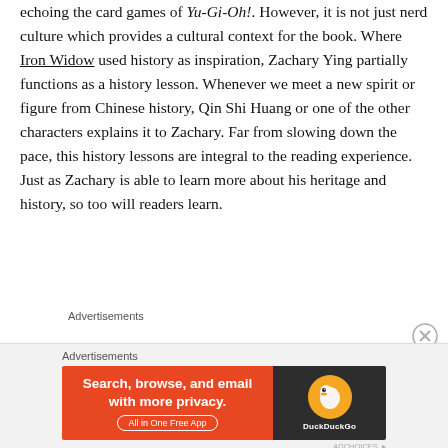echoing the card games of Yu-Gi-Oh!. However, it is not just nerd culture which provides a cultural context for the book. Where Iron Widow used history as inspiration, Zachary Ying partially functions as a history lesson. Whenever we meet a new spirit or figure from Chinese history, Qin Shi Huang or one of the other characters explains it to Zachary. Far from slowing down the pace, this history lessons are integral to the reading experience. Just as Zachary is able to learn more about his heritage and history, so too will readers learn.
Advertisements
[Figure (other): DuckDuckGo advertisement banner: orange left panel with text 'Search, browse, and email with more privacy. All in One Free App', dark right panel with DuckDuckGo duck logo icon and DuckDuckGo text.]